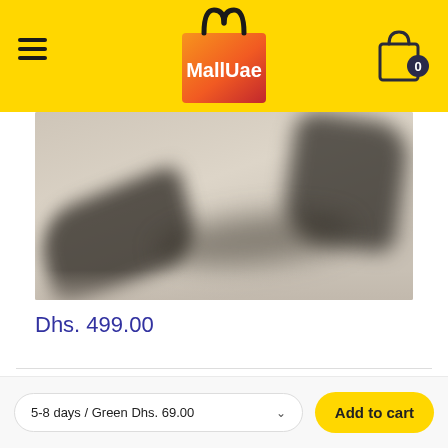[Figure (logo): MallUae logo: orange shopping bag with MU handle icon on top, text 'MallUae' in white on orange/red background]
[Figure (photo): Blurred product image showing dark silhouettes of what appears to be exercise equipment on a beige/tan floor background]
Dhs. 499.00
5-8 days / Green Dhs. 69.00
Add to cart